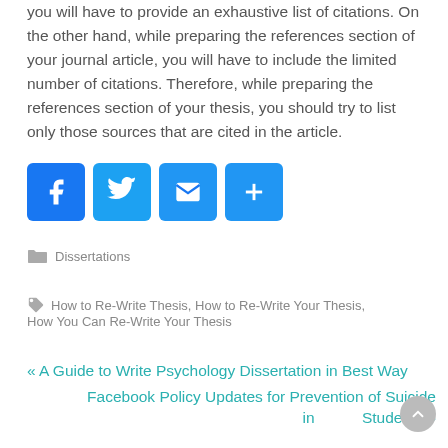you will have to provide an exhaustive list of citations. On the other hand, while preparing the references section of your journal article, you will have to include the limited number of citations. Therefore, while preparing the references section of your thesis, you should try to list only those sources that are cited in the article.
[Figure (other): Social share buttons: Facebook, Twitter, Email, and a plus/share button]
Dissertations
How to Re-Write Thesis, How to Re-Write Your Thesis, How You Can Re-Write Your Thesis
« A Guide to Write Psychology Dissertation in Best Way
Facebook Policy Updates for Prevention of Suicide in Students »